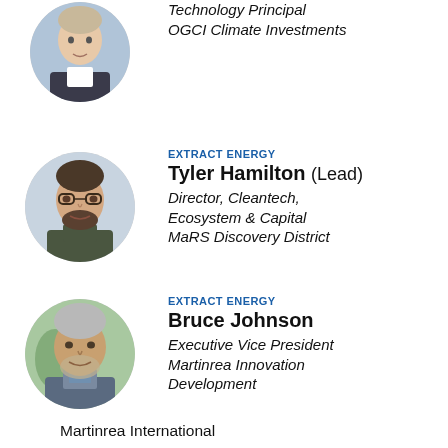[Figure (photo): Circular headshot photo of a person in a suit, cropped at top of page]
Technology Principal
OGCI Climate Investments
[Figure (photo): Circular headshot photo of Tyler Hamilton wearing glasses and a dark turtleneck]
EXTRACT ENERGY
Tyler Hamilton (Lead)
Director, Cleantech, Ecosystem & Capital
MaRS Discovery District
[Figure (photo): Circular headshot photo of Bruce Johnson with grey hair and beard]
EXTRACT ENERGY
Bruce Johnson
Executive Vice President
Martinrea Innovation Development
Martinrea International